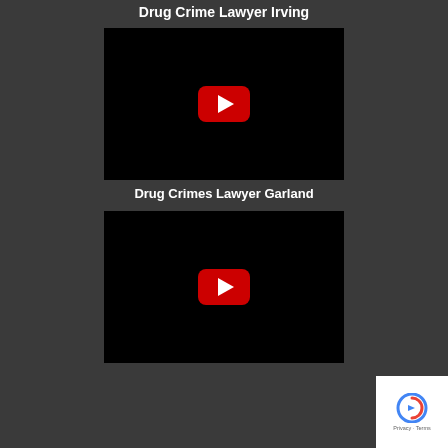Drug Crime Lawyer Irving
[Figure (screenshot): YouTube video thumbnail with black background and red YouTube play button icon]
Drug Crimes Lawyer Garland
[Figure (screenshot): YouTube video thumbnail with black background and red YouTube play button icon]
[Figure (screenshot): reCAPTCHA badge with Privacy and Terms text]